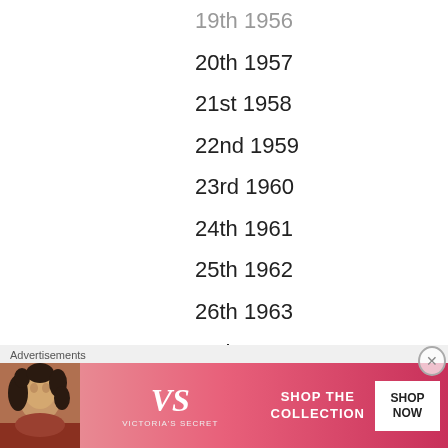19th 1956
20th 1957
21st 1958
22nd 1959
23rd 1960
24th 1961
25th 1962
26th 1963
27th TBC
28th TBC
29th TBC
30th TBC
31st TBC
32nd TBC
Advertisements
[Figure (illustration): Victoria's Secret advertisement banner with a model, VS logo, 'SHOP THE COLLECTION' text and a 'SHOP NOW' button]